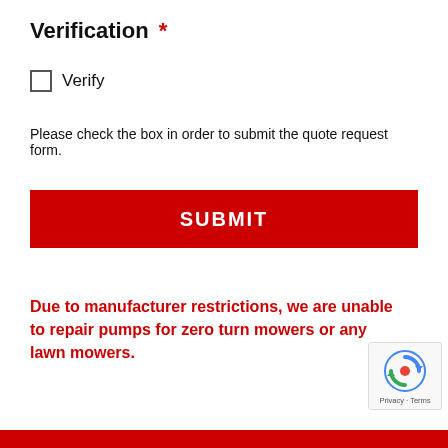Verification *
Verify
Please check the box in order to submit the quote request form.
SUBMIT
Due to manufacturer restrictions, we are unable to repair pumps for zero turn mowers or any lawn mowers.
[Figure (logo): reCAPTCHA badge with rotating arrows icon and Privacy · Terms text]